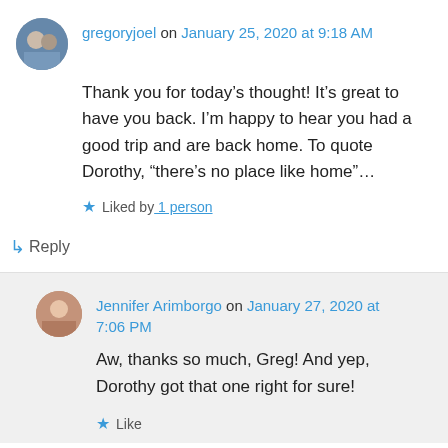[Figure (photo): Avatar photo of gregoryjoel, a couple]
gregoryjoel on January 25, 2020 at 9:18 AM
Thank you for today’s thought! It’s great to have you back. I’m happy to hear you had a good trip and are back home. To quote Dorothy, “there’s no place like home”…
Liked by 1 person
Reply
[Figure (photo): Avatar photo of Jennifer Arimborgo]
Jennifer Arimborgo on January 27, 2020 at 7:06 PM
Aw, thanks so much, Greg! And yep, Dorothy got that one right for sure!
Like